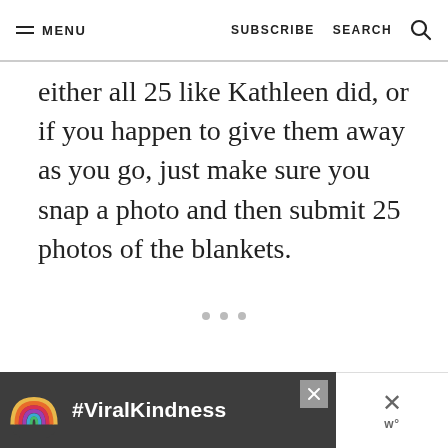≡ MENU   SUBSCRIBE   SEARCH
either all 25 like Kathleen did, or if you happen to give them away as you go, just make sure you snap a photo and then submit 25 photos of the blankets.
[Figure (illustration): Advertisement banner showing a rainbow graphic with text '#ViralKindness' on a dark background, with a close button and a secondary close/logo area on the right.]